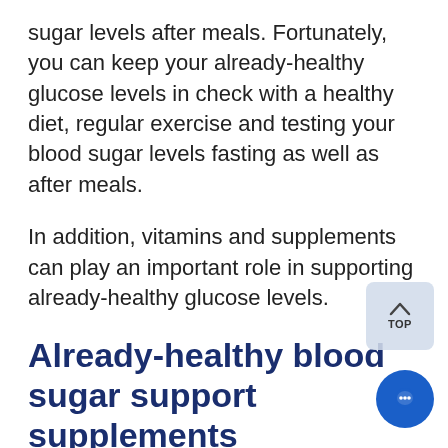sugar levels after meals. Fortunately, you can keep your already-healthy glucose levels in check with a healthy diet, regular exercise and testing your blood sugar levels fasting as well as after meals.
In addition, vitamins and supplements can play an important role in supporting already-healthy glucose levels.
Already-healthy blood sugar support supplements
Help support post-meal, already-healthy glucose levels by incorporating Delphinol® maqui berry extract and Clovinol® clove extract into your supplement regimen. These extracts help maintain already-healthy post-meal blood sugar